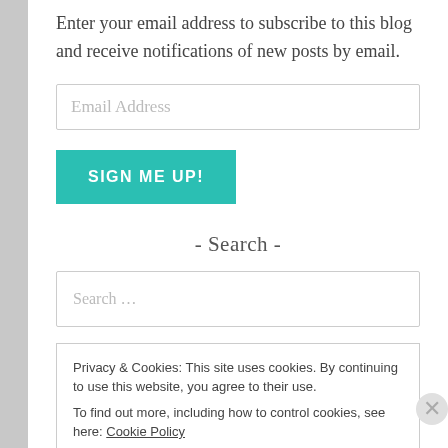Enter your email address to subscribe to this blog and receive notifications of new posts by email.
Email Address
SIGN ME UP!
- Search -
Search …
Privacy & Cookies: This site uses cookies. By continuing to use this website, you agree to their use. To find out more, including how to control cookies, see here: Cookie Policy
Close and accept